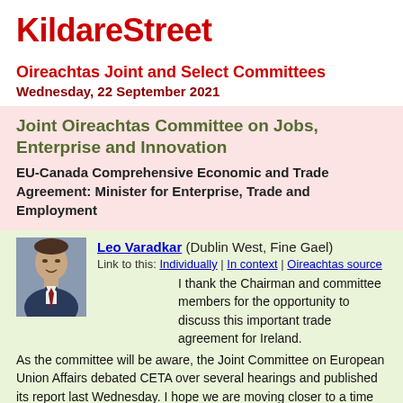KildareStreet
Oireachtas Joint and Select Committees
Wednesday, 22 September 2021
Joint Oireachtas Committee on Jobs, Enterprise and Innovation
EU-Canada Comprehensive Economic and Trade Agreement: Minister for Enterprise, Trade and Employment
Leo Varadkar (Dublin West, Fine Gael)
Link to this: Individually | In context | Oireachtas source
I thank the Chairman and committee members for the opportunity to discuss this important trade agreement for Ireland. As the committee will be aware, the Joint Committee on European Union Affairs debated CETA over several hearings and published its report last Wednesday. I hope we are moving closer to a time when we can take a vote of ratification. Ratifying CETA is Government policy and an objective of mine as Minister for Enterprise, Trade and Employment. While I welcome the continued debate